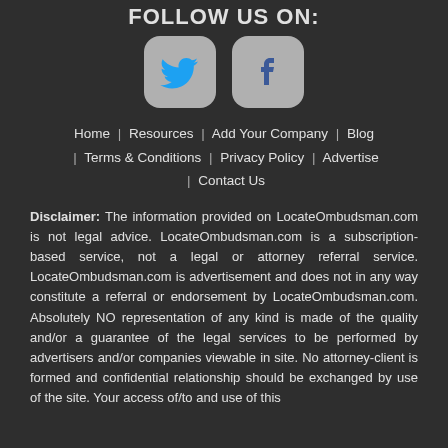FOLLOW US ON:
[Figure (logo): Twitter and Facebook social media icons in rounded square boxes]
Home | Resources | Add Your Company | Blog | Terms & Conditions | Privacy Policy | Advertise | Contact Us
Disclaimer: The information provided on LocateOmbudsman.com is not legal advice. LocateOmbudsman.com is a subscription-based service, not a legal or attorney referral service. LocateOmbudsman.com is advertisement and does not in any way constitute a referral or endorsement by LocateOmbudsman.com. Absolutely NO representation of any kind is made of the quality and/or a guarantee of the legal services to be performed by advertisers and/or companies viewable in site. No attorney-client is formed and confidential relationship should be exchanged by use of the site. Your access of/to and use of this